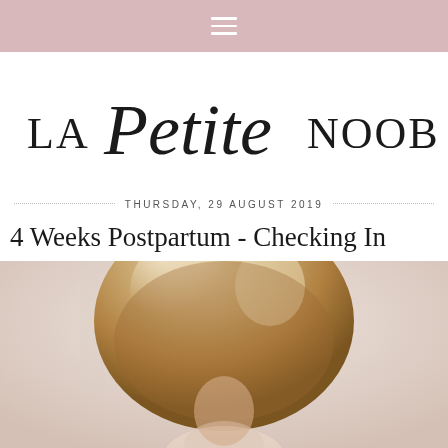≡
[Figure (logo): La Petite Noob blog logo in cursive and serif typography]
THURSDAY, 29 AUGUST 2019
4 Weeks Postpartum - Checking In
[Figure (photo): Mother with highlighted blonde hair holding a baby, photographed from above/behind in a bright neutral-toned room]